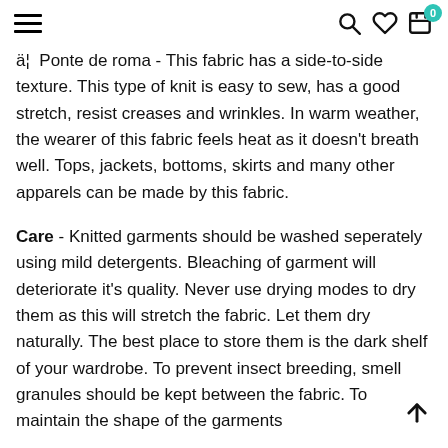Navigation header with hamburger menu, search, wishlist, and cart icons (badge: 0)
ä¦ Ponte de roma - This fabric has a side-to-side texture. This type of knit is easy to sew, has a good stretch, resist creases and wrinkles. In warm weather, the wearer of this fabric feels heat as it doesn't breath well. Tops, jackets, bottoms, skirts and many other apparels can be made by this fabric.
Care - Knitted garments should be washed seperately using mild detergents. Bleaching of garment will deteriorate it's quality. Never use drying modes to dry them as this will stretch the fabric. Let them dry naturally. The best place to store them is the dark shelf of your wardrobe. To prevent insect breeding, smell granules should be kept between the fabric. To maintain the shape of the garments